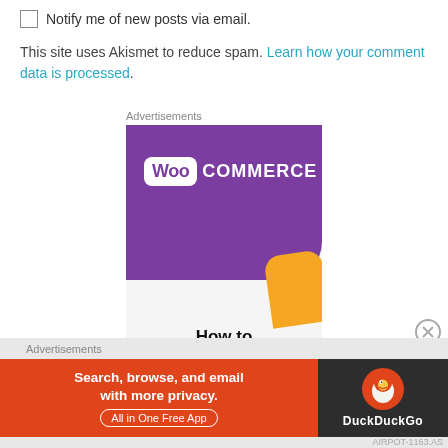Notify me of new posts via email.
This site uses Akismet to reduce spam. Learn how your comment data is processed.
Advertisements
[Figure (illustration): WooCommerce advertisement banner with purple background, WooCommerce logo, orange shape, and 'How to' text at bottom]
[Figure (illustration): Close/dismiss button (circle with X)]
Advertisements
[Figure (illustration): DuckDuckGo advertisement: 'Search, browse, and email with more privacy. All in One Free App' on orange background with DuckDuckGo logo on dark background]